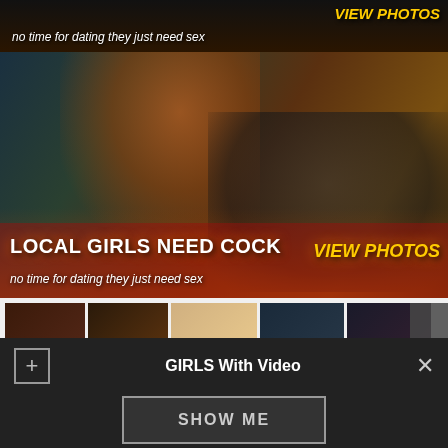[Figure (photo): Top banner ad strip with dark background, text overlay 'no time for dating they just need sex' and 'VIEW PHOTOS' in yellow]
[Figure (photo): Main banner ad with woman with red hair in black top in car, overlaid with text 'LOCAL GIRLS NEED COCK', 'VIEW PHOTOS', 'no time for dating they just need sex']
[Figure (photo): Thumbnail strip with 5 adult content thumbnail images labeled: Naked mature, Mia khalifa, My big dick, Very young, Jada cashmere]
GIRLS With Video
SHOW ME